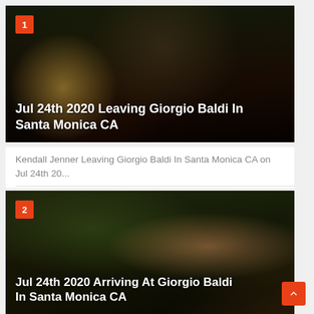[Figure (photo): Photo of woman in dark outdoor setting with bokeh lights, overlaid with badge number 1 and title text]
Jul 24th 2020 Leaving Giorgio Baldi In Santa Monica CA
Kendall Jenner Leaving Giorgio Baldi In Santa Monica CA on Jul 24th 20...
[Figure (photo): Photo of woman with windswept hair outdoors with blurred green background, overlaid with badge number 2 and title text]
Jul 24th 2020 Arriving At Giorgio Baldi In Santa Monica CA